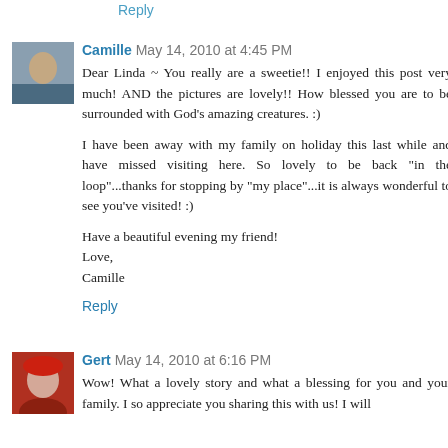Reply
Camille May 14, 2010 at 4:45 PM
Dear Linda ~ You really are a sweetie!! I enjoyed this post very much! AND the pictures are lovely!! How blessed you are to be surrounded with God's amazing creatures. :)

I have been away with my family on holiday this last while and have missed visiting here. So lovely to be back "in the loop"...thanks for stopping by "my place"...it is always wonderful to see you've visited! :)

Have a beautiful evening my friend!
Love,
Camille
Reply
Gert May 14, 2010 at 6:16 PM
Wow! What a lovely story and what a blessing for you and your family. I so appreciate you sharing this with us! I will